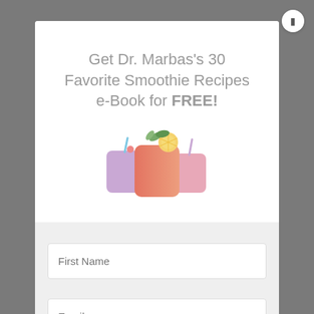Get Dr. Marbas's 30 Favorite Smoothie Recipes e-Book for FREE!
[Figure (illustration): Three colorful smoothie cups with straws and fruit garnishes — a purple cup on the left, a salmon/orange cup in the center front, and a pink cup on the right, with a lemon slice and green leaves on top]
First Name
Email